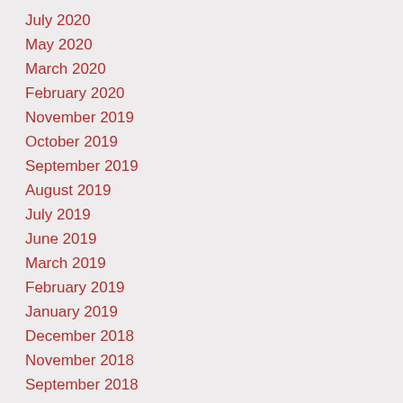July 2020
May 2020
March 2020
February 2020
November 2019
October 2019
September 2019
August 2019
July 2019
June 2019
March 2019
February 2019
January 2019
December 2018
November 2018
September 2018
August 2018